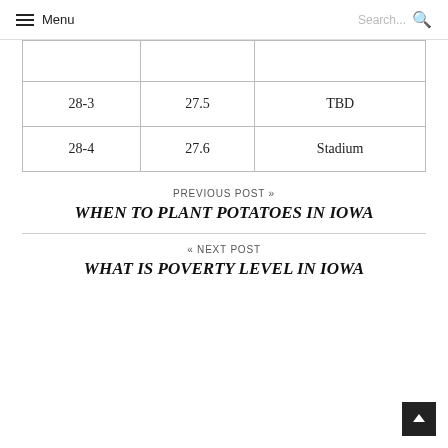Menu  Search...
| 28-3 | 27.5 | TBD |
| 28-4 | 27.6 | Stadium |
PREVIOUS POST »
WHEN TO PLANT POTATOES IN IOWA
« NEXT POST
WHAT IS POVERTY LEVEL IN IOWA